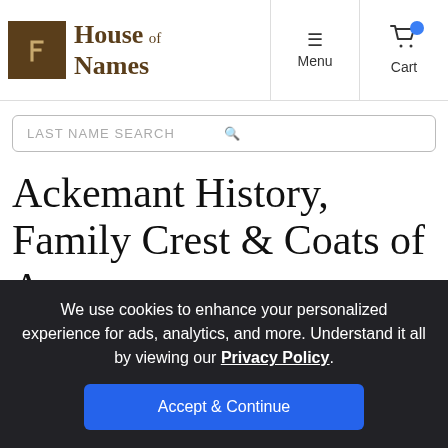House of Names — Menu | Cart
LAST NAME SEARCH
Ackemant History, Family Crest & Coats of Arms
We use cookies to enhance your personalized experience for ads, analytics, and more. Understand it all by viewing our Privacy Policy. Accept & Continue